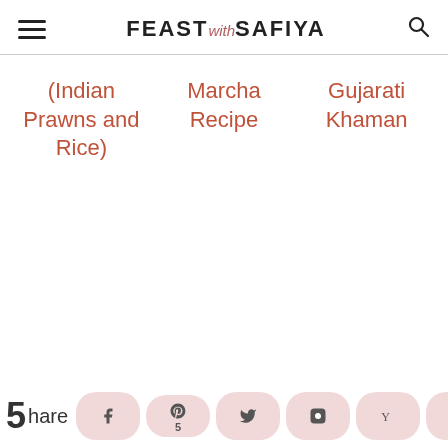FEAST with SAFIYA
(Indian Prawns and Rice)
Marcha Recipe
Gujarati Khaman
5 Share [social share buttons: Facebook, Pinterest (5), Twitter, Instagram, Yummly, Email]